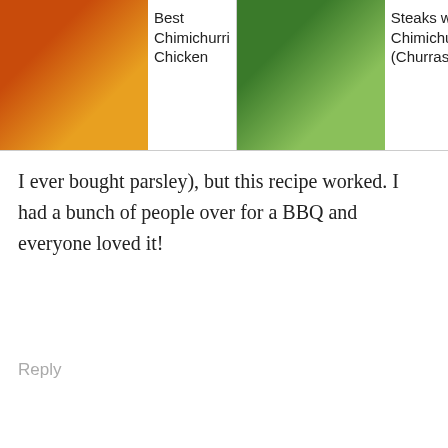[Figure (screenshot): Top navigation strip showing three food recipe thumbnails: Best Chimichurri Chicken, Steaks with Chimichurri (Churrasco), and Grilled Chimichurri Chicken with a search icon overlay]
I ever bought parsley), but this recipe worked. I had a bunch of people over for a BBQ and everyone loved it!
Reply
226.7k
Wil Williams says
November 15, 2019 at 7:10 am
Thank you for this one...already Down in my